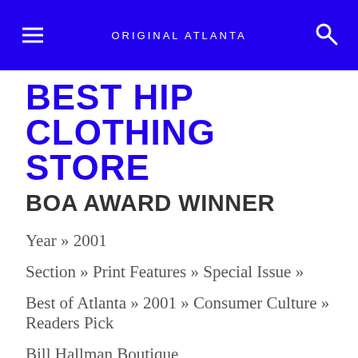ORIGINAL ATLANTA
BEST HIP CLOTHING STORE
BOA AWARD WINNER
Year » 2001
Section » Print Features » Special Issue »
Best of Atlanta » 2001 » Consumer Culture » Readers Pick
Bill Hallman Boutique